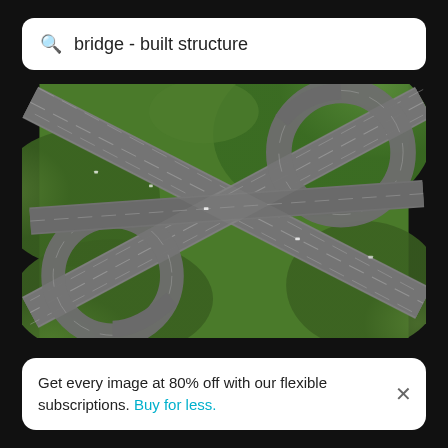bridge - built structure
[Figure (photo): Aerial view of a large highway interchange with multiple looping on-ramps and off-ramps crossing over each other, surrounded by dense green vegetation. The interweaving roads form a complex cloverleaf-like pattern viewed from directly above.]
Get every image at 80% off with our flexible subscriptions. Buy for less.